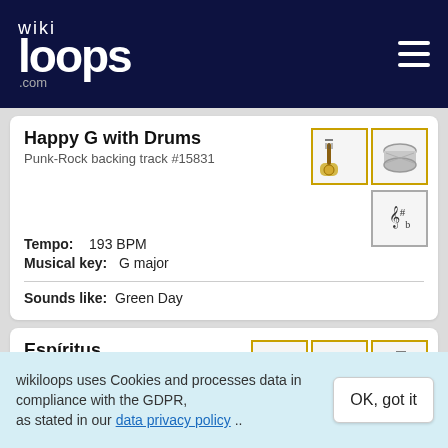wikiloops .com
Happy G with Drums
Punk-Rock backing track #15831
[Figure (illustration): Guitar icon and drum icon with gold border]
[Figure (illustration): Sheet music / key signature icon with border]
Tempo: 193 BPM
Musical key: G major
Sounds like: Green Day
Espíritus
Punk-Rock backing track #191256
[Figure (illustration): Drum, keyboard, and guitar icons with gold border]
wikiloops uses Cookies and processes data in compliance with the GDPR, as stated in our data privacy policy ..